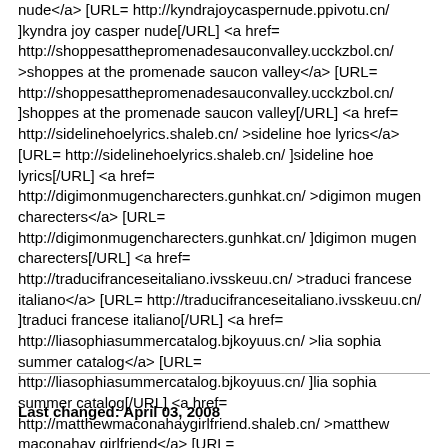nude</a> [URL= http://kyndrajoycaspernude.ppivotu.cn/ ]kyndra joy casper nude[/URL] <a href= http://shoppesatthepromenadesauconvalley.ucckzbol.cn/ >shoppes at the promenade saucon valley</a> [URL= http://shoppesatthepromenadesauconvalley.ucckzbol.cn/ ]shoppes at the promenade saucon valley[/URL] <a href= http://sidelinehoelyrics.shaleb.cn/ >sideline hoe lyrics</a> [URL= http://sidelinehoelyrics.shaleb.cn/ ]sideline hoe lyrics[/URL] <a href= http://digimonmugencharecters.gunhkat.cn/ >digimon mugen charecters</a> [URL= http://digimonmugencharecters.gunhkat.cn/ ]digimon mugen charecters[/URL] <a href= http://traducifranceseitaliano.ivsskeuu.cn/ >traduci francese italiano</a> [URL= http://traducifranceseitaliano.ivsskeuu.cn/ ]traduci francese italiano[/URL] <a href= http://liasophiasummercatalog.bjkoyuus.cn/ >lia sophia summer catalog</a> [URL= http://liasophiasummercatalog.bjkoyuus.cn/ ]lia sophia summer catalog[/URL] <a href= http://matthewmaconahaygirlfriend.shaleb.cn/ >matthew maconahay girlfriend</a> [URL= http://matthewmaconahaygirlfriend.shaleb.cn/ ]matthew maconahay girlfriend[/URL]
Last changed: April 03, 2008